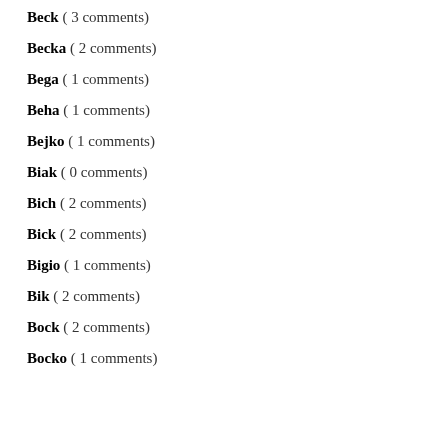Beck ( 3 comments)
Becka ( 2 comments)
Bega ( 1 comments)
Beha ( 1 comments)
Bejko ( 1 comments)
Biak ( 0 comments)
Bich ( 2 comments)
Bick ( 2 comments)
Bigio ( 1 comments)
Bik ( 2 comments)
Bock ( 2 comments)
Bocko ( 1 comments)